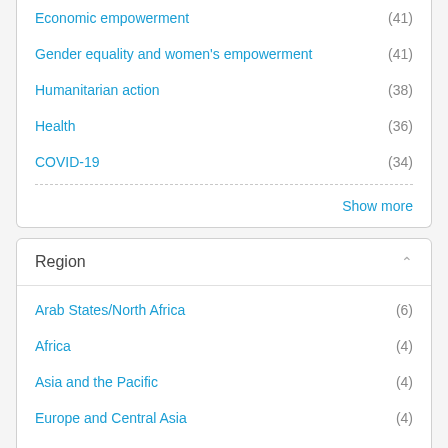Economic empowerment (41)
Gender equality and women's empowerment (41)
Humanitarian action (38)
Health (36)
COVID-19 (34)
Show more
Region
Arab States/North Africa (6)
Africa (4)
Asia and the Pacific (4)
Europe and Central Asia (4)
Latin America and the Caribbean (4)
OECD DAC Donors and Other Countries (4)
European Union (1)